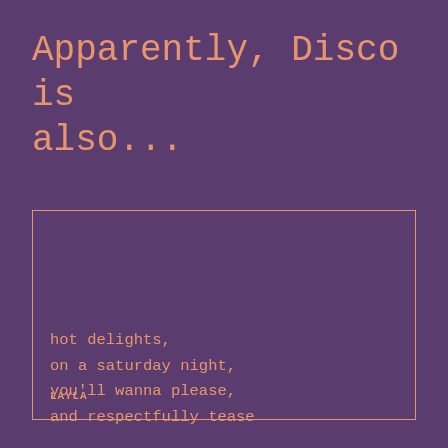Apparently, Disco is also...
hot delights,
on a saturday night,
you'll wanna please,
and respectfully tease
LAYLA